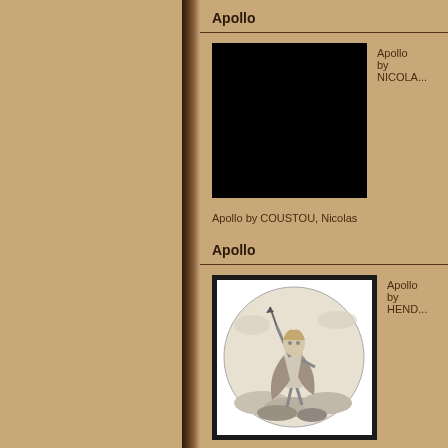Apollo
[Figure (photo): Black rectangle representing a blocked/unavailable image of Apollo by COUSTOU, Nicolas]
Apollo by COUSTOU, Nicolas
Apollo by NICOLA...
Apollo
[Figure (illustration): Circular engraving of Apollo standing on clouds, holding a staff aloft, wearing flowing robes, by GOLTZIUS, Hendrick]
Apollo by GOLTZIUS, Hendrick
Apollo by HEND...